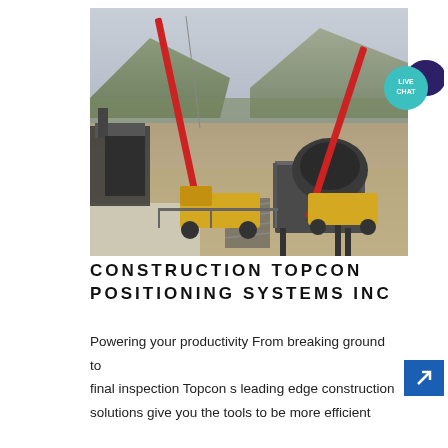[Figure (photo): Aerial view of a construction site with red cranes, yellow heavy machinery, and industrial equipment against a mountain backdrop.]
[Figure (infographic): Live Chat bubble icon with teal background and dark blue speech bubble.]
CONSTRUCTION TOPCON POSITIONING SYSTEMS INC
Powering your productivity From breaking ground to final inspection Topcon s leading edge construction solutions give you the tools to be more efficient
[Figure (infographic): Blue arrow button pointing upper-right.]